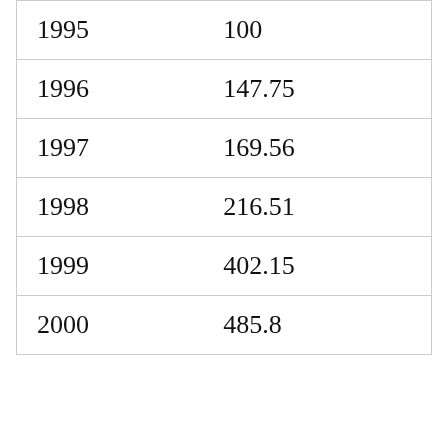| 1995 | 100 |
| 1996 | 147.75 |
| 1997 | 169.56 |
| 1998 | 216.51 |
| 1999 | 402.15 |
| 2000 | 485.8 |